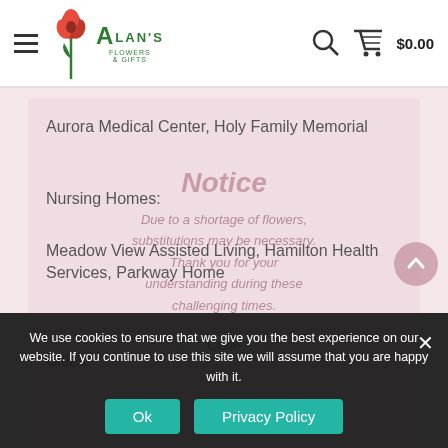[Figure (logo): Alan's Flowers & Gifts logo with red rose graphic and green text]
Aurora Medical Center, Holy Family Memorial
Nursing Homes:
Meadow View Assisted Living, Hamilton Health Services, Parkway Home
Cities:
Notice
Due to a shortage of flowers, substitutions may be necessary. Thank you for your understanding during these challenging times.
We use cookies to ensure that we give you the best experience on our website. If you continue to use this site we will assume that you are happy with it.